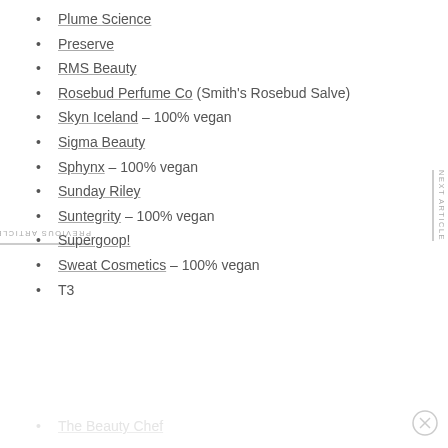Plume Science
Preserve
RMS Beauty
Rosebud Perfume Co (Smith's Rosebud Salve)
Skyn Iceland – 100% vegan
Sigma Beauty
Sphynx – 100% vegan
Sunday Riley
Suntegrity – 100% vegan
Supergoop!
Sweat Cosmetics – 100% vegan
T3
The Beauty Chef